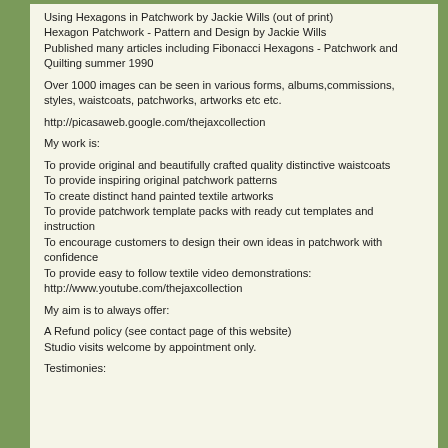Using Hexagons in Patchwork by Jackie Wills (out of print)
Hexagon Patchwork - Pattern and Design by Jackie Wills
Published many articles including Fibonacci Hexagons - Patchwork and Quilting summer 1990
Over 1000 images can be seen in various forms, albums,commissions, styles, waistcoats, patchworks, artworks etc etc.
http://picasaweb.google.com/thejaxcollection
My work is:
To provide original and beautifully crafted quality distinctive waistcoats
To provide inspiring original patchwork patterns
To create distinct hand painted textile artworks
To provide patchwork template packs with ready cut templates and instruction
To encourage customers to design their own ideas in patchwork with confidence
To provide easy to follow textile video demonstrations:
http://www.youtube.com/thejaxcollection
My aim is to always offer:
A Refund policy (see contact page of this website)
Studio visits welcome by appointment only.
Testimonies: